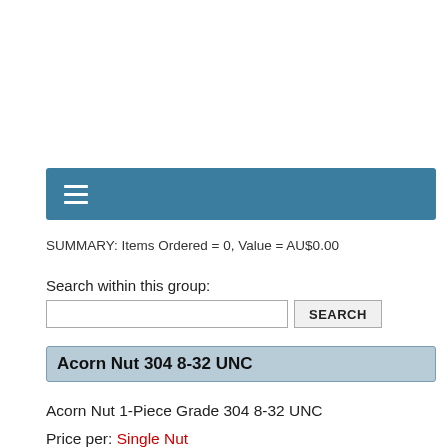[Figure (screenshot): Navigation bar with hamburger menu icon on a teal/steel blue background]
SUMMARY: Items Ordered = 0, Value = AU$0.00
Search within this group:
Acorn Nut 304 8-32 UNC
Acorn Nut 1-Piece Grade 304 8-32 UNC
Price per: Single Nut